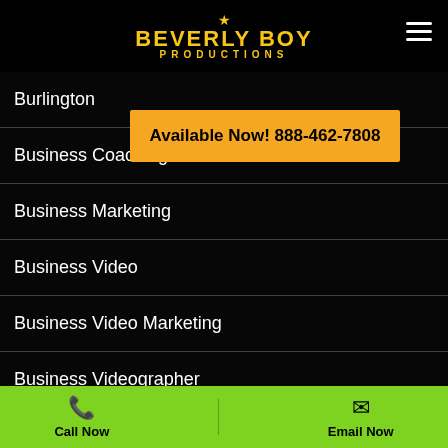Beverly Boy Productions
Available Now! 888-462-7808
Burlington
Business Coaching
Business Marketing
Business Video
Business Video Marketing
Business Videographer
Business Videography
CA
Cabarrus County
Cairo
Calhoun County MI
Call Now   Email Now